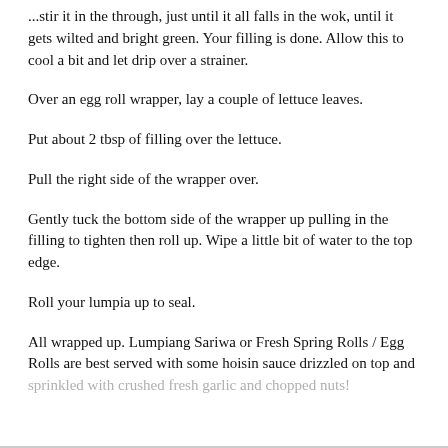...stir it in the through, just until it all falls in the wok, until it gets wilted and bright green. Your filling is done. Allow this to cool a bit and let drip over a strainer.
Over an egg roll wrapper, lay a couple of lettuce leaves.
Put about 2 tbsp of filling over the lettuce.
Pull the right side of the wrapper over.
Gently tuck the bottom side of the wrapper up pulling in the filling to tighten then roll up. Wipe a little bit of water to the top edge.
Roll your lumpia up to seal.
All wrapped up. Lumpiang Sariwa or Fresh Spring Rolls / Egg Rolls are best served with some hoisin sauce drizzled on top and sprinkled with crushed fresh garlic and chopped nuts!